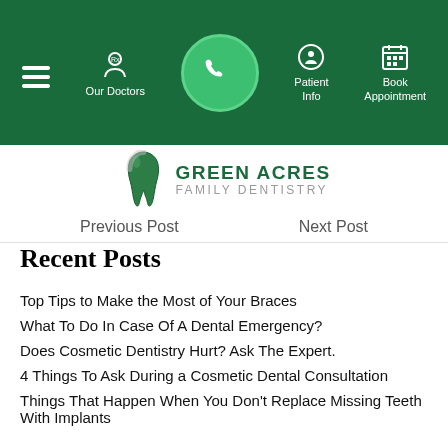[Figure (screenshot): Green navigation bar with hamburger menu, Our Doctors, phone call circle button, Patient Info, and Book Appointment icons]
[Figure (logo): Green Acres Family Dentistry logo with tooth icon]
Previous Post    Next Post
Recent Posts
Top Tips to Make the Most of Your Braces
What To Do In Case Of A Dental Emergency?
Does Cosmetic Dentistry Hurt? Ask The Expert.
4 Things To Ask During a Cosmetic Dental Consultation
Things That Happen When You Don't Replace Missing Teeth With Implants